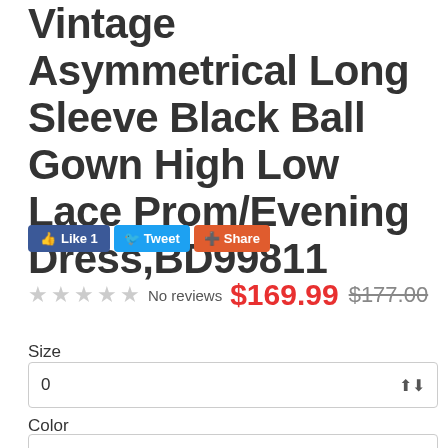Vintage Asymmetrical Long Sleeve Black Ball Gown High Low Lace Prom/Evening Dress,BD99811
[Figure (other): Social media buttons: Facebook Like 1, Twitter Tweet, Share button]
★★★★★ No reviews $169.99 $177.00
Size
0
Color
Pic Color